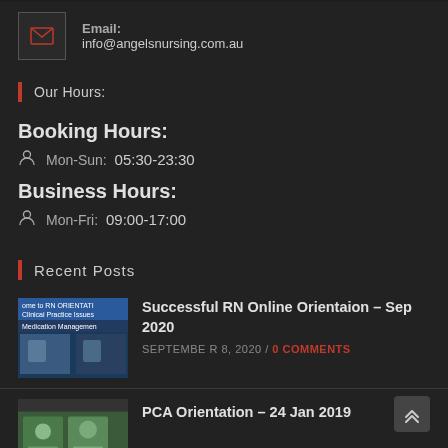Email: info@angelsnursing.com.au
Our Hours:
Booking Hours:
Mon-Sun: 05:30-23:30
Business Hours:
Mon-Fri: 09:00-17:00
Recent Posts
Successful RN Online Orientaion – Sep 2020
SEPTEMBER 8, 2020 / 0 COMMENTS
PCA Orientation – 24 Jan 2019